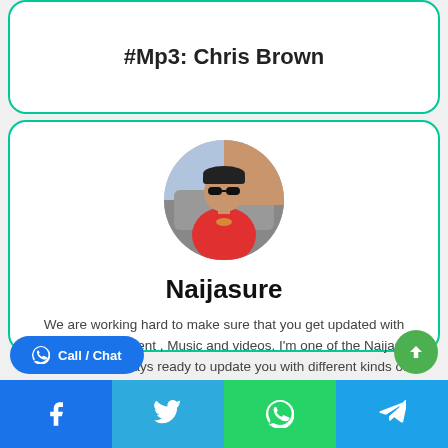#Mp3: Chris Brown
[Figure (photo): Circular profile photo of a man in a red shirt and cap, standing near a car]
Naijasure
We are working hard to make sure that you get updated with News , Entertainment , Music and videos. I’m one of the Naijasure staff who is always ready to update you with different kinds of news entertainment and music. Thank you for using Naijasure.com .
[Figure (illustration): Home icon symbol]
Call / Chat | Facebook | Twitter | WhatsApp | Telegram share buttons